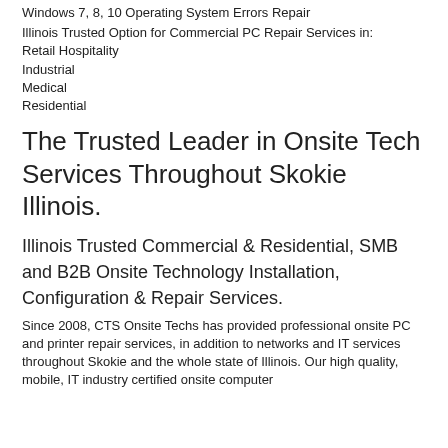Windows 7, 8, 10 Operating System Errors Repair
Illinois Trusted Option for Commercial PC Repair Services in:
Retail Hospitality
Industrial
Medical
Residential
The Trusted Leader in Onsite Tech Services Throughout Skokie Illinois.
Illinois Trusted Commercial & Residential, SMB and B2B Onsite Technology Installation, Configuration & Repair Services.
Since 2008, CTS Onsite Techs has provided professional onsite PC and printer repair services, in addition to networks and IT services throughout Skokie and the whole state of Illinois. Our high quality, mobile, IT industry certified onsite computer